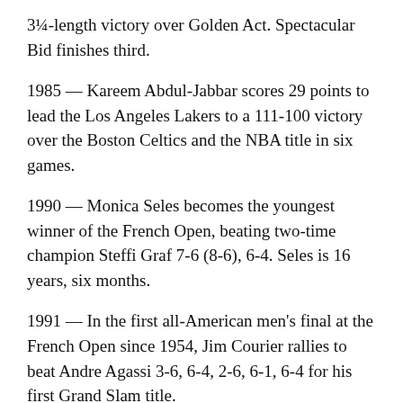3¼-length victory over Golden Act. Spectacular Bid finishes third.
1985 — Kareem Abdul-Jabbar scores 29 points to lead the Los Angeles Lakers to a 111-100 victory over the Boston Celtics and the NBA title in six games.
1990 — Monica Seles becomes the youngest winner of the French Open, beating two-time champion Steffi Graf 7-6 (8-6), 6-4. Seles is 16 years, six months.
1991 — In the first all-American men's final at the French Open since 1954, Jim Courier rallies to beat Andre Agassi 3-6, 6-4, 2-6, 6-1, 6-4 for his first Grand Slam title.
1993 — Patrick Roy makes 18 saves and the Montreal Canadiens capture their 24th Stanley Cup, beating the Los Angeles Kings 4-1 in Game 5.
1995 — The Houston Rockets set NBA records with